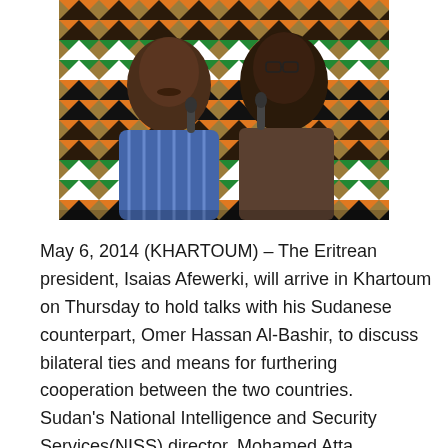[Figure (photo): Two men speaking into microphones in front of a colorful zigzag-patterned fabric backdrop with orange, black, white and green colors. The man on the left wears a striped shirt; the man on the right wears a dark shirt.]
May 6, 2014 (KHARTOUM) – The Eritrean president, Isaias Afewerki, will arrive in Khartoum on Thursday to hold talks with his Sudanese counterpart, Omer Hassan Al-Bashir, to discuss bilateral ties and means for furthering cooperation between the two countries. Sudan's National Intelligence and Security Services(NISS) director, Mohamed Atta,